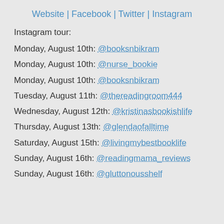Website | Facebook | Twitter | Instagram
Instagram tour:
Monday, August 10th: @booksnbikram
Monday, August 10th: @nurse_bookie
Monday, August 10th: @booksnbikram
Tuesday, August 11th: @thereadingroom444
Wednesday, August 12th: @kristinasbookishlife
Thursday, August 13th: @glendaofalltime
Saturday, August 15th: @livingmybestbooklife
Sunday, August 16th: @readingmama_reviews
Sunday, August 16th: @gluttonousshelf